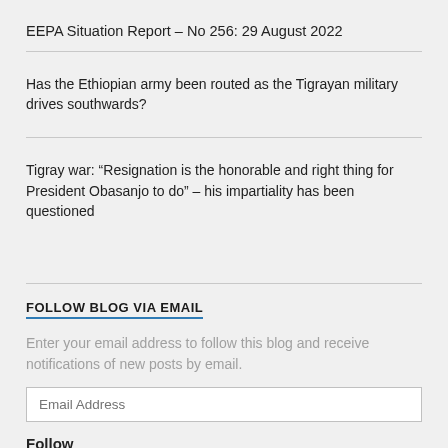EEPA Situation Report – No 256: 29 August 2022
Has the Ethiopian army been routed as the Tigrayan military drives southwards?
Tigray war: “Resignation is the honorable and right thing for President Obasanjo to do” – his impartiality has been questioned
FOLLOW BLOG VIA EMAIL
Enter your email address to follow this blog and receive notifications of new posts by email.
Email Address
Follow